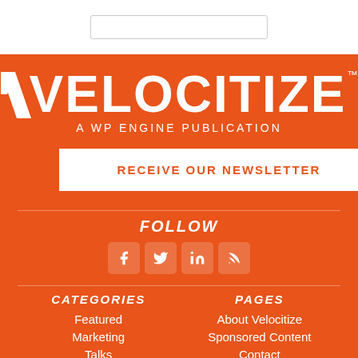[Figure (logo): Velocitize logo - A WP Engine Publication on orange background]
RECEIVE OUR NEWSLETTER
FOLLOW
[Figure (illustration): Social media icons: Facebook, Twitter, LinkedIn, RSS]
CATEGORIES
PAGES
Featured
About Velocitize
Marketing
Sponsored Content
Talks
Contact